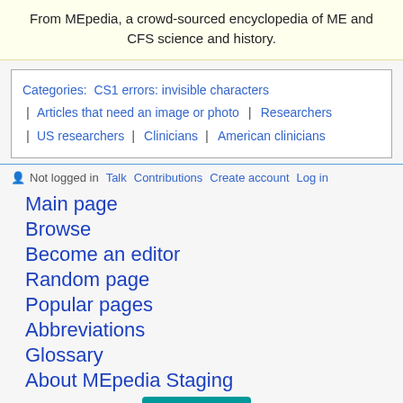From MEpedia, a crowd-sourced encyclopedia of ME and CFS science and history.
Categories:  CS1 errors: invisible characters | Articles that need an image or photo | Researchers | US researchers | Clinicians | American clinicians
Not logged in  Talk  Contributions  Create account  Log in
Main page
Browse
Become an editor
Random page
Popular pages
Abbreviations
Glossary
About MEpedia Staging
DONATE